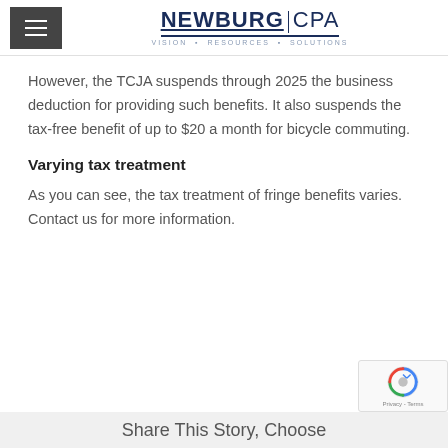NEWBURG CPA | VISION • RESOURCES • SOLUTIONS
However, the TCJA suspends through 2025 the business deduction for providing such benefits. It also suspends the tax-free benefit of up to $20 a month for bicycle commuting.
Varying tax treatment
As you can see, the tax treatment of fringe benefits varies. Contact us for more information.
Share This Story, Choose